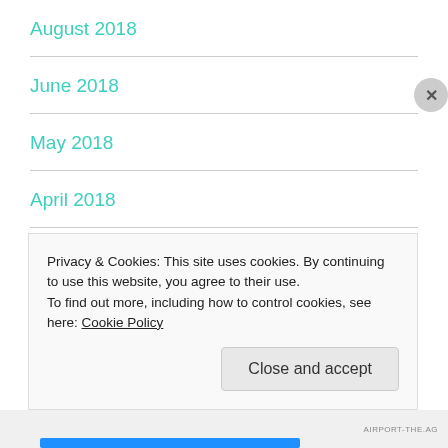August 2018
June 2018
May 2018
April 2018
July 2017
June 2017
Privacy & Cookies: This site uses cookies. By continuing to use this website, you agree to their use.
To find out more, including how to control cookies, see here: Cookie Policy
AIRPORT-THE.AG